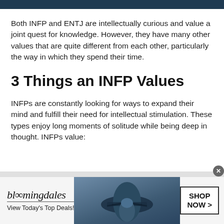Both INFP and ENTJ are intellectually curious and value a joint quest for knowledge. However, they have many other values that are quite different from each other, particularly the way in which they spend their time.
3 Things an INFP Values
INFPs are constantly looking for ways to expand their mind and fulfill their need for intellectual stimulation. These types enjoy long moments of solitude while being deep in thought. INFPs value:
[Figure (advertisement): Bloomingdale's advertisement banner with logo, tagline 'View Today's Top Deals!', photo of woman in hat, and 'SHOP NOW >' button]